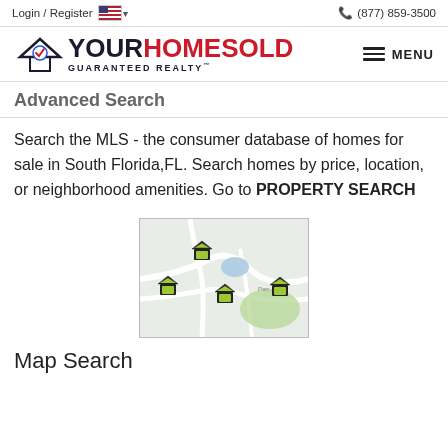Login / Register   (877) 859-3500
[Figure (logo): Your Home Sold Guaranteed Realty logo with house icon and checkmark]
Advanced Search
Search the MLS - the consumer database of homes for sale in South Florida,FL. Search homes by price, location, or neighborhood amenities. Go to PROPERTY SEARCH
[Figure (map): Map showing property locations with green house icons on a street map with roads and green areas]
Map Search